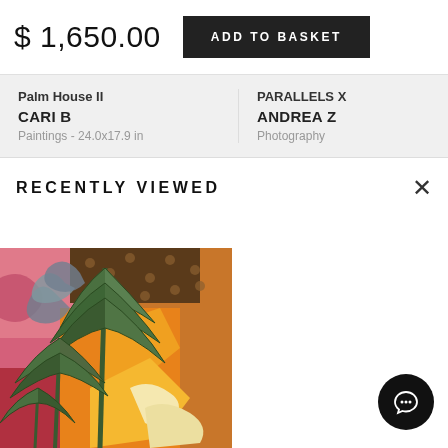$ 1,650.00
ADD TO BASKET
Palm House II
CARI B
Paintings - 24.0x17.9 in
PARALLELS X
ANDREA Z
Photography
RECENTLY VIEWED
[Figure (photo): Colorful painting featuring tropical plants with large aloe-like leaves in greens and grays against an orange, red, and patterned background with decorative motifs.]